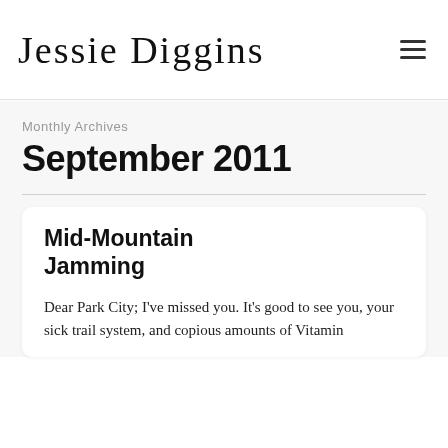Jessie Diggins
Monthly Archives
September 2011
Mid-Mountain Jamming
Dear Park City; I've missed you. It's good to see you, your sick trail system, and copious amounts of Vitamin